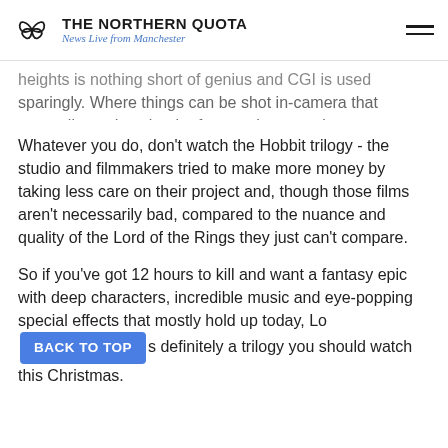THE NORTHERN QUOTA — News Live from Manchester
heights is nothing short of genius and CGI is used sparingly. Where things can be shot in-camera that generally tends to be the favoured approach.
Whatever you do, don't watch the Hobbit trilogy - the studio and filmmakers tried to make more money by taking less care on their project and, though those films aren't necessarily bad, compared to the nuance and quality of the Lord of the Rings they just can't compare.
So if you've got 12 hours to kill and want a fantasy epic with deep characters, incredible music and eye-popping special effects that mostly hold up today, Lord of the Rings is definitely a trilogy you should watch this Christmas.